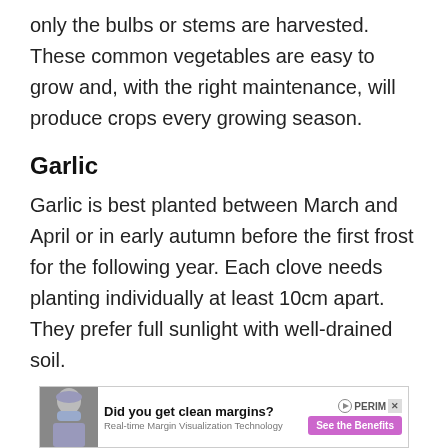only the bulbs or stems are harvested. These common vegetables are easy to grow and, with the right maintenance, will produce crops every growing season.
Garlic
Garlic is best planted between March and April or in early autumn before the first frost for the following year. Each clove needs planting individually at least 10cm apart. They prefer full sunlight with well-drained soil.
[Figure (other): Advertisement banner: Did you get clean margins? Real-time Margin Visualization Technology. See the Benefits. Perim logo with play button and close button. Surgeon photo on left.]